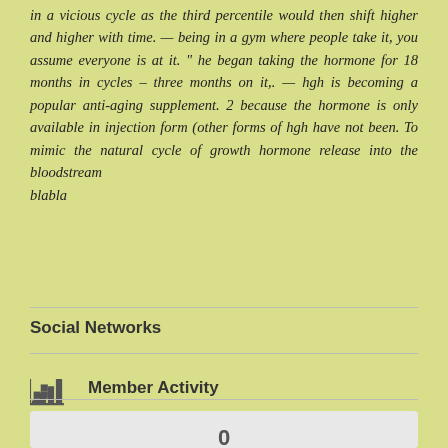in a vicious cycle as the third percentile would then shift higher and higher with time. — being in a gym where people take it, you assume everyone is at it. " he began taking the hormone for 18 months in cycles – three months on it,. — hgh is becoming a popular anti-aging supplement. 2 because the hormone is only available in injection form (other forms of hgh have not been. To mimic the natural cycle of growth hormone release into the bloodstream
blabla
Social Networks
Member Activity
[Figure (illustration): Teal/green pencil icon above the number 0, inside a light gray box representing member activity]